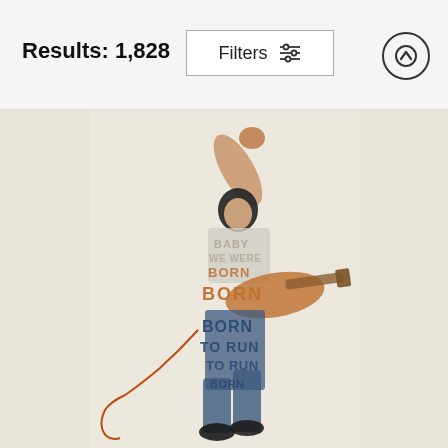Results: 1,828
Filters
[Figure (illustration): Typography art illustration of a rock musician (Bruce Springsteen style) jumping/playing guitar, made up of song lyrics text 'BABY WE WERE BORN BORN TO RUN' in tan, brown, and dark blue colors on a cream/beige textured background. An orange guitar cord trails to the lower left.]